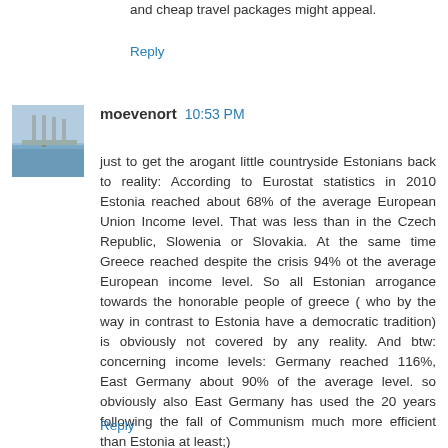and cheap travel packages might appeal.
Reply
[Figure (photo): User avatar photo showing a dock/pier scene with water]
moevenort 10:53 PM
just to get the arogant little countryside Estonians back to reality: According to Eurostat statistics in 2010 Estonia reached about 68% of the average European Union Income level. That was less than in the Czech Republic, Slowenia or Slovakia. At the same time Greece reached despite the crisis 94% ot the average European income level. So all Estonian arrogance towards the honorable people of greece ( who by the way in contrast to Estonia have a democratic tradition) is obviously not covered by any reality. And btw: concerning income levels: Germany reached 116%, East Germany about 90% of the average level. so obviously also East Germany has used the 20 years following the fall of Communism much more efficient than Estonia at least;)
Reply